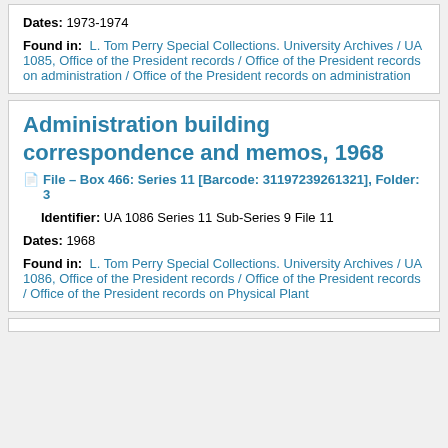Dates: 1973-1974
Found in: L. Tom Perry Special Collections. University Archives / UA 1085, Office of the President records / Office of the President records on administration / Office of the President records on administration
Administration building correspondence and memos, 1968
File – Box 466: Series 11 [Barcode: 31197239261321], Folder: 3
Identifier: UA 1086 Series 11 Sub-Series 9 File 11
Dates: 1968
Found in: L. Tom Perry Special Collections. University Archives / UA 1086, Office of the President records / Office of the President records / Office of the President records on Physical Plant